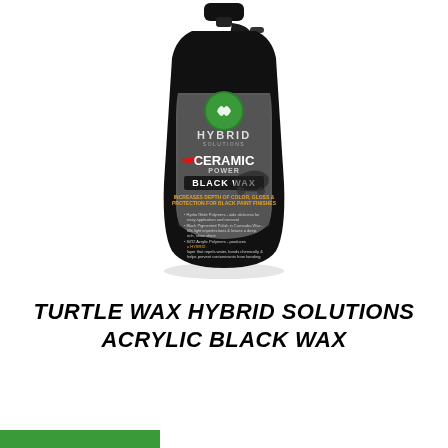[Figure (photo): A black spray bottle of Turtle Wax Hybrid Solutions Ceramic Power Black Wax product, shown at an angle with a car image on the label and a green Turtle Wax logo.]
TURTLE WAX HYBRID SOLUTIONS ACRYLIC BLACK WAX